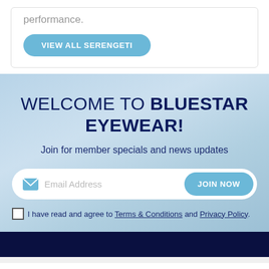performance.
VIEW ALL SERENGETI
WELCOME TO BLUESTAR EYEWEAR!
Join for member specials and news updates
Email Address
JOIN NOW
I have read and agree to Terms & Conditions and Privacy Policy.